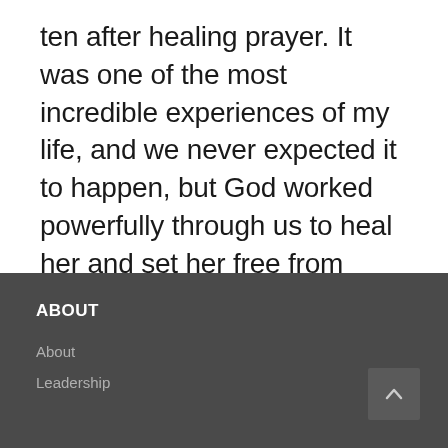ten after healing prayer. It was one of the most incredible experiences of my life, and we never expected it to happen, but God worked powerfully through us to heal her and set her free from pain.
ABOUT
About
Leadership